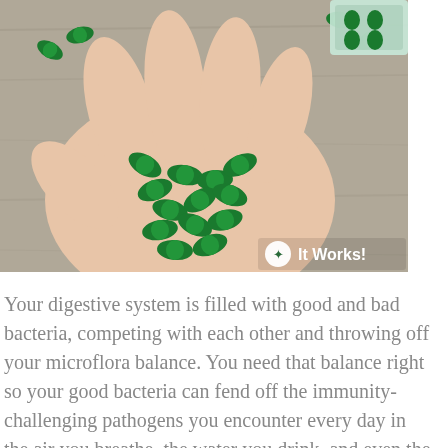[Figure (photo): A hand holding many small green gel capsules/supplement pills. Some capsules are scattered on a wooden surface in the background. An 'It Works!' brand logo appears in the bottom right corner of the image.]
Your digestive system is filled with good and bad bacteria, competing with each other and throwing off your microflora balance. You need that balance right so your good bacteria can fend off the immunity-challenging pathogens you encounter every day in the air you breathe, the water you drink, and even the